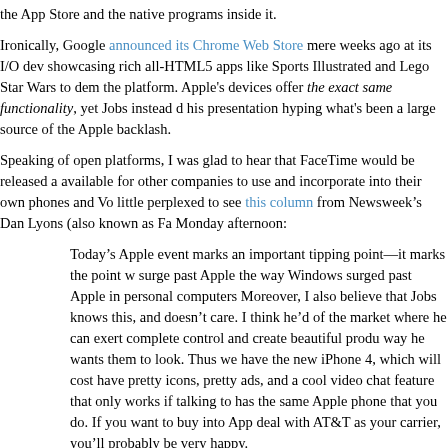the App Store and the native programs inside it.
Ironically, Google announced its Chrome Web Store mere weeks ago at its I/O dev showcasing rich all-HTML5 apps like Sports Illustrated and Lego Star Wars to dem the platform. Apple's devices offer the exact same functionality, yet Jobs instead d his presentation hyping what's been a large source of the Apple backlash.
Speaking of open platforms, I was glad to hear that FaceTime would be released a available for other companies to use and incorporate into their own phones and Vo little perplexed to see this column from Newsweek's Dan Lyons (also known as Fa Monday afternoon:
Today's Apple event marks an important tipping point—it marks the point w surge past Apple the way Windows surged past Apple in personal computers Moreover, I also believe that Jobs knows this, and doesn't care. I think he'd of the market where he can exert complete control and create beautiful produ way he wants them to look. Thus we have the new iPhone 4, which will cost have pretty icons, pretty ads, and a cool video chat feature that only works if talking to has the same Apple phone that you do. If you want to buy into App deal with AT&T as your carrier, you'll probably be very happy.
I mean, that really says it all, doesn't it?! It's true that you'll only be able to use Fac iPhone 4s at launch, but there's nothing to stop, say, Skype from incorporating it ir But if reporters are leaving even this year's WWDC with the takeaway that Apple's obsessed with closed systems at all costs, the media might not be entirely at fault.